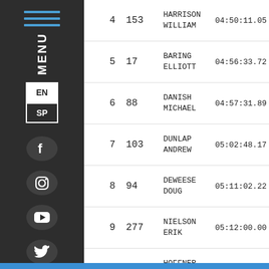| Place | Bib | Name | Time |
| --- | --- | --- | --- |
| 4 | 153 | HARRISON WILLIAM | 04:50:11.05 |
| 5 | 17 | BARING ELLIOTT | 04:56:33.72 |
| 6 | 88 | DANISH MICHAEL | 04:57:31.89 |
| 7 | 103 | DUNLAP ANDREW | 05:02:48.17 |
| 8 | 94 | DEWEESE DOUG | 05:11:02.22 |
| 9 | 277 | NIELSON ERIK | 05:12:00.00 |
| 10 | 166 | HOFFNER SCOTT | 05:15:12.28 |
| 11 | 335 | SLOWINSKI ANTHONY | 05:15:14.00 |
| 12 | 222 | LOWDEN SPENCER | 05:24:04.89 |
| 13 | 39 | BRAGG NICK | 05:24:06.68 |